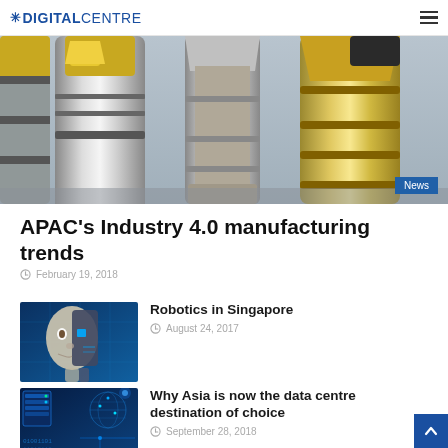DIGITAL CENTRE
[Figure (photo): Close-up photo of machining tool holders / CNC tool shanks on a light blue background, with a 'News' badge in the bottom-right corner]
APAC's Industry 4.0 manufacturing trends
February 19, 2018
[Figure (photo): Thumbnail photo of a humanoid robot face/head combining human and machine features on a blue digital background]
Robotics in Singapore
August 24, 2017
[Figure (photo): Thumbnail photo of blue digital data centre / technology montage with glowing blue tones]
Why Asia is now the data centre destination of choice
September 28, 2018